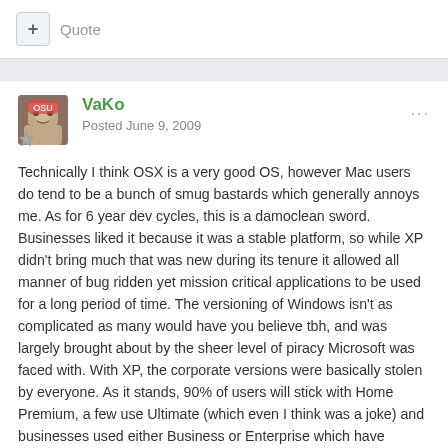+ Quote
VaKo
Posted June 9, 2009
Technically I think OSX is a very good OS, however Mac users do tend to be a bunch of smug bastards which generally annoys me. As for 6 year dev cycles, this is a damoclean sword. Businesses liked it because it was a stable platform, so while XP didn't bring much that was new during its tenure it allowed all manner of bug ridden yet mission critical applications to be used for a long period of time. The versioning of Windows isn't as complicated as many would have you believe tbh, and was largely brought about by the sheer level of piracy Microsoft was faced with. With XP, the corporate versions were basically stolen by everyone. As it stands, 90% of users will stick with Home Premium, a few use Ultimate (which even I think was a joke) and businesses used either Business or Enterprise which have specific features most home users won't want or need. OSX targets a different market